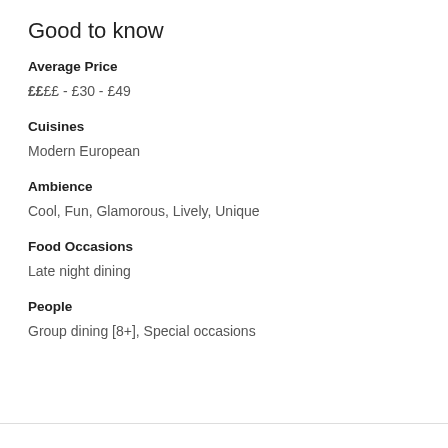Good to know
Average Price
££££ - £30 - £49
Cuisines
Modern European
Ambience
Cool, Fun, Glamorous, Lively, Unique
Food Occasions
Late night dining
People
Group dining [8+], Special occasions